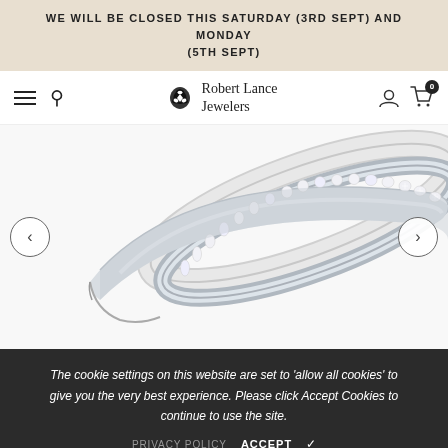WE WILL BE CLOSED THIS SATURDAY (3RD SEPT) AND MONDAY (5TH SEPT)
[Figure (screenshot): Robert Lance Jewelers navigation bar with hamburger menu, search icon, Celtic knot logo with brand name, user account icon, and shopping cart icon showing 0 items]
[Figure (photo): Close-up photo of a diamond-studded white gold eternity band ring with round brilliant cut diamonds set in a pavé style along the top edge, photographed at an angle on a white background]
The cookie settings on this website are set to 'allow all cookies' to give you the very best experience. Please click Accept Cookies to continue to use the site.
PRIVACY POLICY   ACCEPT ✓